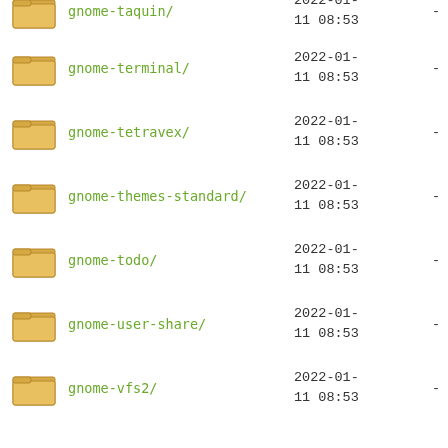| icon | name | date | size |
| --- | --- | --- | --- |
| [folder] | gnome-taquin/ | 2022-01-11 08:53 | - |
| [folder] | gnome-terminal/ | 2022-01-11 08:53 | - |
| [folder] | gnome-tetravex/ | 2022-01-11 08:53 | - |
| [folder] | gnome-themes-standard/ | 2022-01-11 08:53 | - |
| [folder] | gnome-todo/ | 2022-01-11 08:53 | - |
| [folder] | gnome-user-share/ | 2022-01-11 08:53 | - |
| [folder] | gnome-vfs2/ | 2022-01-11 08:53 | - |
| [folder] | gnome-vfsmm2.6/ | 2022-01-11 08:53 | - |
| [folder] | gnome-xcf-thumbnailer/ | 2022-01-11 08:53 | - |
| [folder] | gnome2048/ | 2022-01-11 08:53 | - |
| [folder] | gnubg/ | 2022-01-11 08:53 | - |
| [folder] | gnucap/ | 2022-01-11 08:53 | - |
| [folder] | gnucash/ | 2022-01-11 08:53 | - |
| [folder] | gnuchess/ | 2022-01-11 08:53 | - |
| [folder] | ... | 2022-01-... | - |